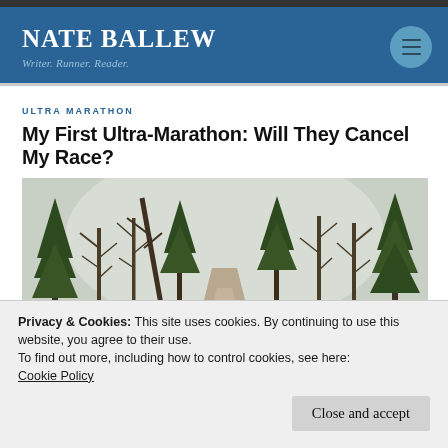NATE BALLEW
Writer. Runner. Reader.
ULTRA MARATHON
My First Ultra-Marathon: Will They Cancel My Race?
[Figure (photo): A forest trail through bare winter trees with pine trees and leafless deciduous trees, misty background]
Privacy & Cookies: This site uses cookies. By continuing to use this website, you agree to their use.
To find out more, including how to control cookies, see here:
Cookie Policy
Close and accept